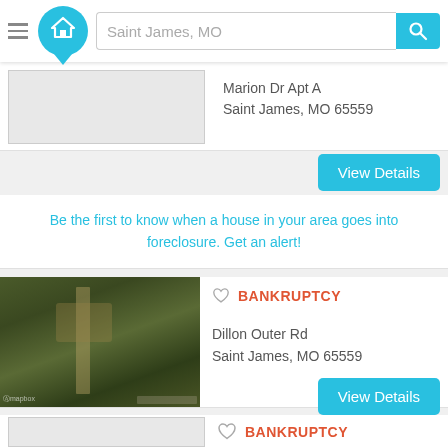Saint James, MO
Marion Dr Apt A
Saint James, MO 65559
View Details
Be the first to know when a house in your area goes into foreclosure. Get an alert!
[Figure (photo): Aerial satellite view of a property on Dillon Outer Rd, Saint James MO - wooded area with a clearing and dirt road visible]
BANKRUPTCY
Dillon Outer Rd
Saint James, MO 65559
View Details
BANKRUPTCY